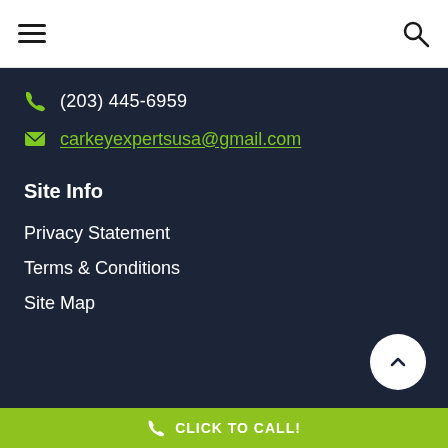Navigation menu and search
(203) 445-6959
carkeyexpertsusa@gmail.com
Site Info
Privacy Statement
Terms & Conditions
Site Map
CLICK TO CALL!